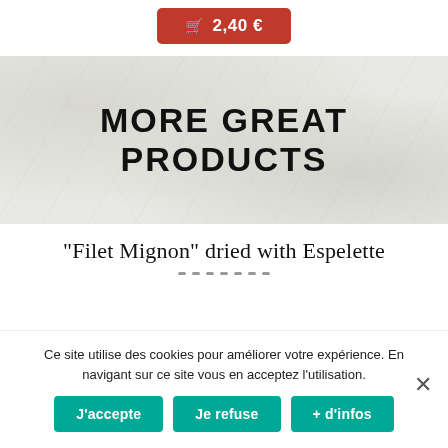[Figure (other): Red add-to-cart button showing price 2,40 €]
[Figure (other): Banner section with textured light gray background displaying MORE GREAT PRODUCTS heading]
"Filet Mignon" dried with Espelette
Ce site utilise des cookies pour améliorer votre expérience. En navigant sur ce site vous en acceptez l'utilisation.
J'accepte | Je refuse | + d'infos